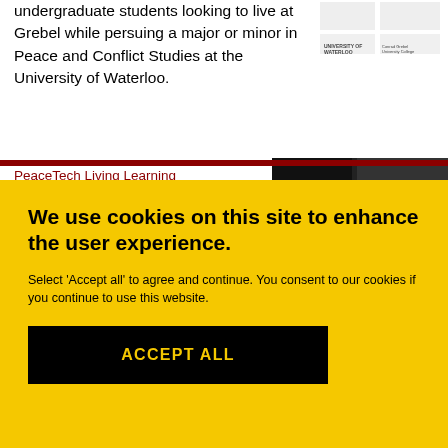undergraduate students looking to live at Grebel while persuing a major or minor in Peace and Conflict Studies at the University of Waterloo.
[Figure (logo): University logos including University of Waterloo and Conrad Grebel University College]
PeaceTech Living Learning
[Figure (photo): Dark photo related to PeaceTech Living Learning]
We use cookies on this site to enhance the user experience.
Select 'Accept all' to agree and continue. You consent to our cookies if you continue to use this website.
ACCEPT ALL
Master of Peace and Conflict Studies
[Figure (photo): Photo related to Master of Peace and Conflict Studies]